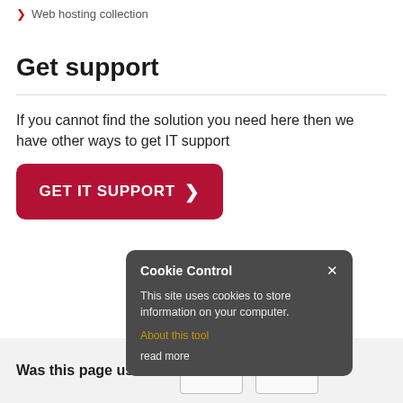> Web hosting collection
Get support
If you cannot find the solution you need here then we have other ways to get IT support
[Figure (other): Red button labeled GET IT SUPPORT with a right chevron]
[Figure (other): Cookie Control popup dialog with close button, text 'This site uses cookies to store information on your computer.', 'About this tool' link in orange, and 'read more' link]
Was this page useful?
YES
NO